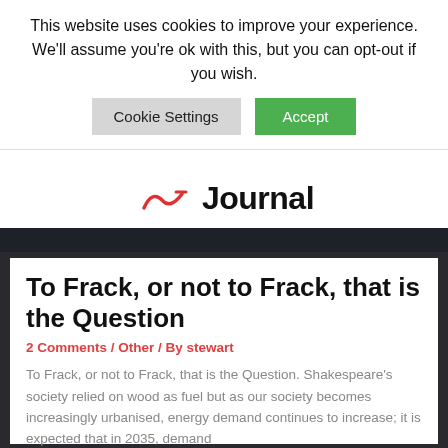This website uses cookies to improve your experience. We'll assume you're ok with this, but you can opt-out if you wish.
Cookie Settings  Accept
Journal
To Frack, or not to Frack, that is the Question
2 Comments / Other / By stewart
To Frack, or not to Frack, that is the Question. Shakespeare's society relied on wood as fuel but as our society becomes increasingly urbanised, energy demand continues to increase; it is expected that in 2035, demand